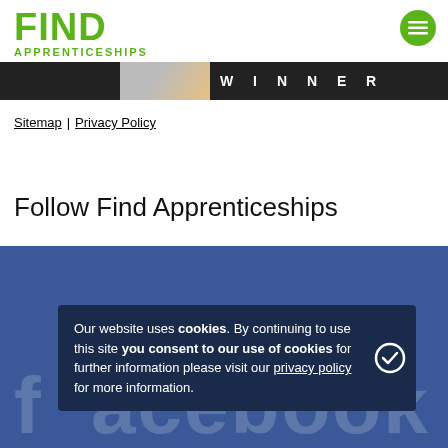FIND APPRENTICESHIPS
[Figure (screenshot): Dark banner with a photo on the left and the word WINNER in spaced capital letters on a dark background]
Sitemap | Privacy Policy
Follow Find Apprenticeships
[Figure (screenshot): Blue Facebook banner section showing the bottom portion of a Facebook logo/branding]
Our website uses cookies. By continuing to use this site you consent to our use of cookies for further information please visit our privacy policy for more information.